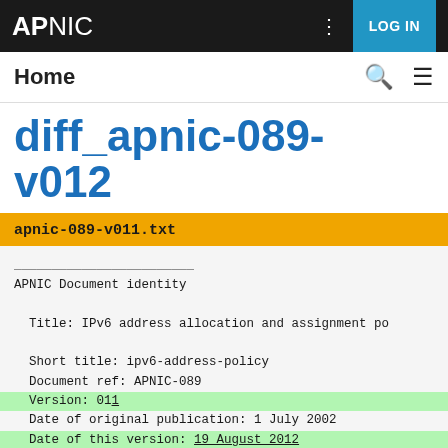APNIC LOG IN
Home
diff_apnic-089-v012
apnic-089-v011.txt
________________________
APNIC Document identity

  Title: IPv6 address allocation and assignment po

  Short title: ipv6-address-policy
  Document ref: APNIC-089
  Version: 011
  Date of original publication: 1 July 2002
  Date of this version: 19 August 2012
  Review scheduled: n/a